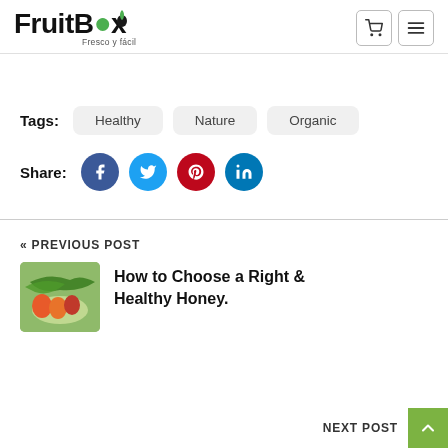FruitBox - Fresco y fácil
Tags: Healthy Nature Organic
Share:
« PREVIOUS POST
How to Choose a Right & Healthy Honey.
NEXT POST